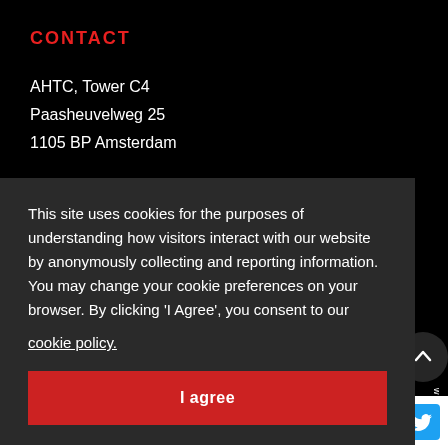CONTACT
AHTC, Tower C4
Paasheuvelweg 25
1105 BP Amsterdam
This site uses cookies for the purposes of understanding how visitors interact with our website by anonymously collecting and reporting information. You may change your cookie preferences on your browser. By clicking 'I Agree', you consent to our
cookie policy.
I agree
AIGHD @aighd · Aug 30